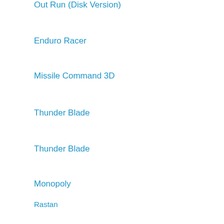Out Run (Disk Version)
Enduro Racer
Missile Command 3D
Thunder Blade
Thunder Blade
Monopoly
Rastan
Thunderblade
Out Run Europa
Rampage
Wonder Boy In Monster Land
Alien Syndrome
After Burner
Phantasy Star